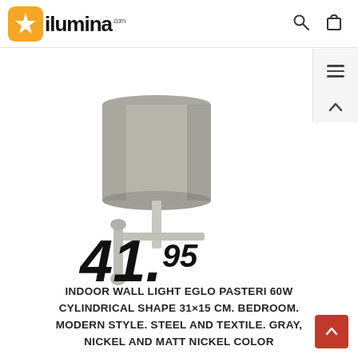[Figure (logo): ilumina.com logo — orange rounded-square icon with white star, bold black 'ilumina' text]
[Figure (photo): Indoor wall light Eglo Pasteri with cylindrical gray textile shade and matt nickel steel arm bracket, price overlay 41.95]
INDOOR WALL LIGHT EGLO PASTERI 60W CYLINDRICAL SHAPE 31×15 CM. BEDROOM. MODERN STYLE. STEEL AND TEXTILE. GRAY, NICKEL AND MATT NICKEL COLOR